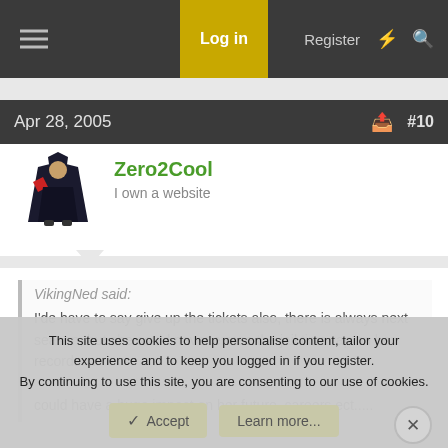Log in  Register
Apr 28, 2005  #10
Zero2Cool
I own a website
VikingNed said:
I'de have to say give up the tickets also, there is always next season, but she could never errase the jail time rap on her records.....

could have a huge impact on her future, careers ect.....
This site uses cookies to help personalise content, tailor your experience and to keep you logged in if you register.
By continuing to use this site, you are consenting to our use of cookies.